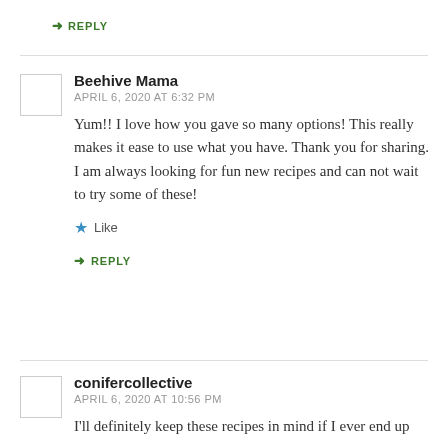↳ REPLY
Beehive Mama
APRIL 6, 2020 AT 6:32 PM
Yum!! I love how you gave so many options! This really makes it ease to use what you have. Thank you for sharing. I am always looking for fun new recipes and can not wait to try some of these!
Like
↳ REPLY
conifercollective
APRIL 6, 2020 AT 10:56 PM
I'll definitely keep these recipes in mind if I ever end up